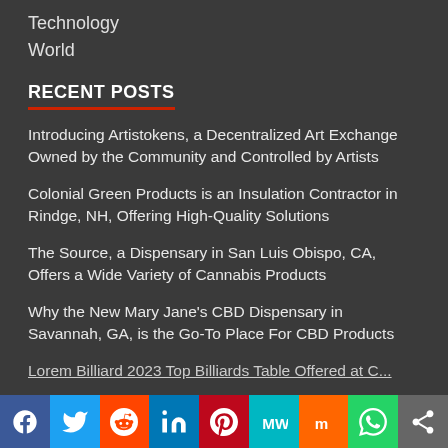Technology
World
RECENT POSTS
Introducing Artistokens, a Decentralized Art Exchange Owned by the Community and Controlled by Artists
Colonial Green Products is an Insulation Contractor in Rindge, NH, Offering High-Quality Solutions
The Source, a Dispensary in San Luis Obispo, CA, Offers a Wide Variety of Cannabis Products
Why the New Mary Jane's CBD Dispensary in Savannah, GA, is the Go-To Place For CBD Products
Lorem Billiard 2023 Top Billiards Table Offered at C...
[Figure (infographic): Social sharing bar with icons: Facebook, Twitter, Reddit, LinkedIn, Pinterest, MeWe, Mix, WhatsApp, Share]